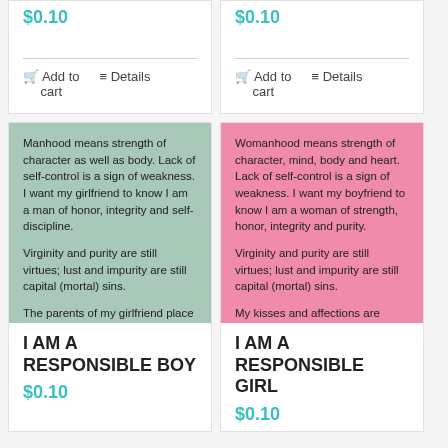$0.10
Add to cart
Details
$0.10
Add to cart
Details
[Figure (other): Green background card with text about manhood, virginity, purity, and responsibility]
[Figure (other): Pink background card with text about womanhood, virginity, purity, and responsibility]
I AM A RESPONSIBLE BOY
$0.10
I AM A RESPONSIBLE GIRL
$0.10